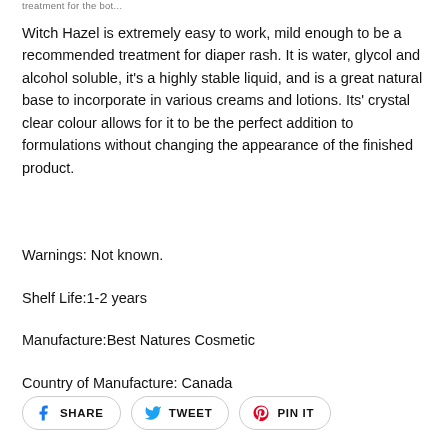treatment for the bot...
Witch Hazel is extremely easy to work, mild enough to be a recommended treatment for diaper rash. It is water, glycol and alcohol soluble, it's a highly stable liquid, and is a great natural base to incorporate in various creams and lotions. Its' crystal clear colour allows for it to be the perfect addition to formulations without changing the appearance of the finished product.
Warnings: Not known.
Shelf Life:1-2 years
Manufacture:Best Natures Cosmetic
Country of Manufacture: Canada